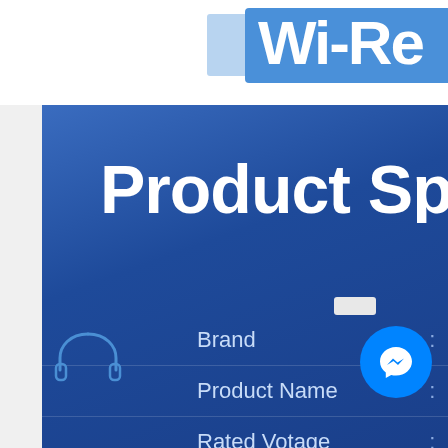WI-Re (partially visible)
Product Sp (partially visible — Product Specifications)
Brand :
Product Name :
Rated Votage :
Power Supply :
Color :
[Figure (illustration): Headphone icon outline in blue on left side]
[Figure (illustration): Messenger chat button circle icon and small chat widget rectangle]